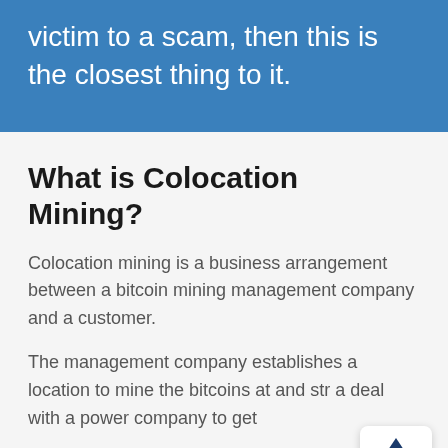victim to a scam, then this is the closest thing to it.
What is Colocation Mining?
Colocation mining is a business arrangement between a bitcoin mining management company and a customer.
The management company establishes a location to mine the bitcoins at and str... a deal with a power company to get